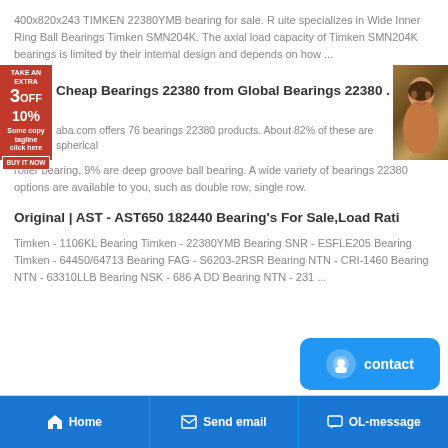400x820x243 TIMKEN 22380YMB bearing for sale. R uite specializes in Wide Inner Ring Ball Bearings Timken SMN204K. The axial load capacity of Timken SMN204K bearings is limited by their internal design and depends on how ...
[Figure (photo): Red advertisement banner with '3 OFF 10%' text and a photo of a woman's face on the right side]
Cheap Bearings 22380 from Global Bearings 22380 .
aba.com offers 76 bearings 22380 products. About 82% of these are spherical roller bearing, 9% are deep groove ball bearing. A wide variety of bearings 22380 options are available to you, such as double row, single row.
Original | AST - AST650 182440 Bearing's For Sale,Load Rati
Timken - 1106KL Bearing Timken - 22380YMB Bearing SNR - ESFLE205 Bearing Timken - 64450/64713 Bearing FAG - S6203-2RSR Bearing NTN - CRI-1460 Bearing NTN - 63310LLB Bearing NSK - 686 A DD Bearing NTN - 231 ...
[Figure (screenshot): Blue contact button with chat icon and 'contact' text]
Home   Send email   OL-message